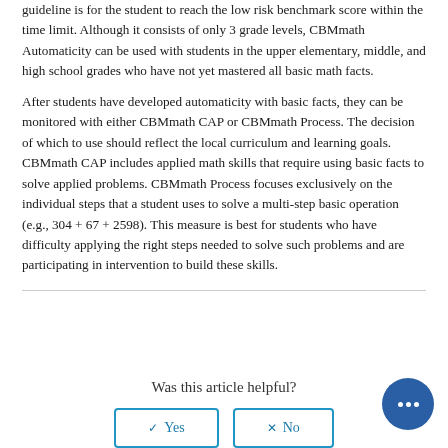guideline is for the student to reach the low risk benchmark score within the time limit. Although it consists of only 3 grade levels, CBMmath Automaticity can be used with students in the upper elementary, middle, and high school grades who have not yet mastered all basic math facts.
After students have developed automaticity with basic facts, they can be monitored with either CBMmath CAP or CBMmath Process. The decision of which to use should reflect the local curriculum and learning goals. CBMmath CAP includes applied math skills that require using basic facts to solve applied problems. CBMmath Process focuses exclusively on the individual steps that a student uses to solve a multi-step basic operation (e.g., 304 + 67 + 2598). This measure is best for students who have difficulty applying the right steps needed to solve such problems and are participating in intervention to build these skills.
Was this article helpful?
Yes
No